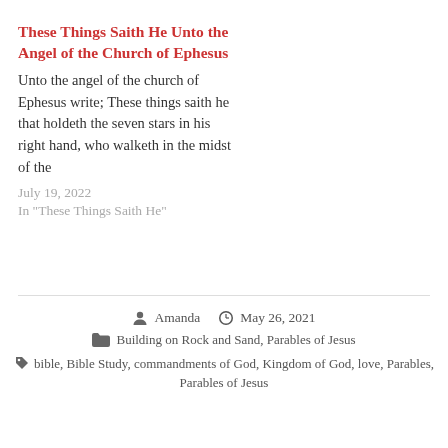These Things Saith He Unto the Angel of the Church of Ephesus
Unto the angel of the church of Ephesus write; These things saith he that holdeth the seven stars in his right hand, who walketh in the midst of the
July 19, 2022
In "These Things Saith He"
Amanda   May 26, 2021
Building on Rock and Sand, Parables of Jesus
bible, Bible Study, commandments of God, Kingdom of God, love, Parables, Parables of Jesus